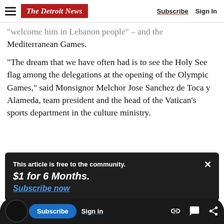The Detroit News | Subscribe | Sign In
“welcome him in Lebanon people” – and the Mediterranean Games.
“The dream that we have often had is to see the Holy See flag among the delegations at the opening of the Olympic Games,” said Monsignor Melchor Jose Sanchez de Toca y Alameda, team president and the head of the Vatican’s sports department in the culture ministry.
This article is free to the community.
$1 for 6 Months.
Subscribe now